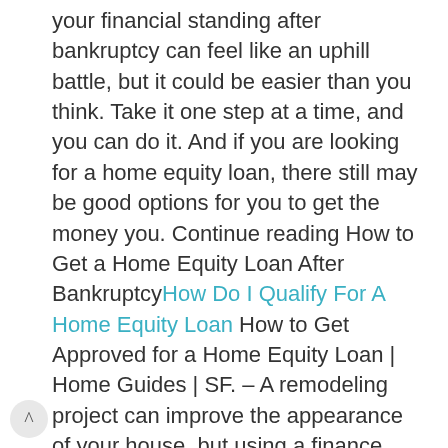your financial standing after bankruptcy can feel like an uphill battle, but it could be easier than you think. Take it one step at a time, and you can do it. And if you are looking for a home equity loan, there still may be good options for you to get the money you. Continue reading How to Get a Home Equity Loan After BankruptcyHow Do I Qualify For A Home Equity Loan How to Get Approved for a Home Equity Loan | Home Guides | SF. – A remodeling project can improve the appearance of your house, but using a finance company to pay for the project may be more expensive than a home equity loan. home equity loans typically provide.
Mortgage Calculator 101 | FannieMaeEligibility.com – Who is eligible for fannie mae? fannie mae guarantees multi-family and single-family mortgages and loans. To qualify for either type of loan, an applicant must have an income lower than the local average, and the